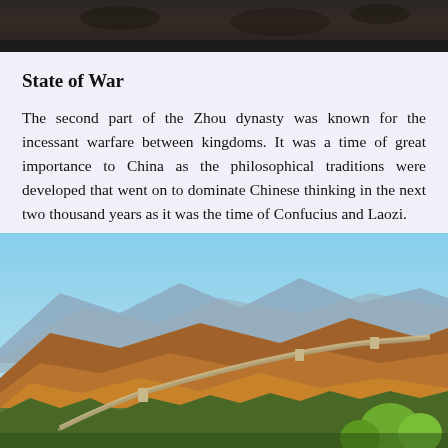[Figure (photo): Partial view of a dark-toned image at the top of the page, likely a historical artifact or textured surface]
State of War
The second part of the Zhou dynasty was known for the incessant warfare between kingdoms. It was a time of great importance to China as the philosophical traditions were developed that went on to dominate Chinese thinking in the next two thousand years as it was the time of Confucius and Laozi.
[Figure (photo): Aerial photograph of the Great Wall of China winding through mountainous terrain covered in autumn foliage with blue sky in the background]